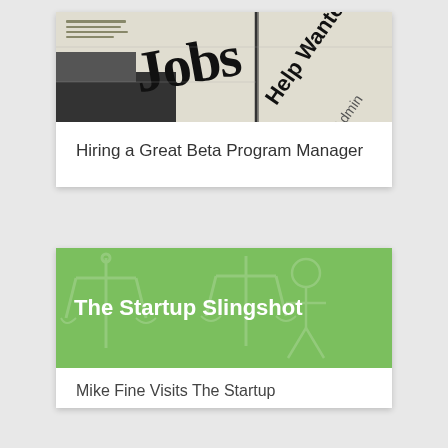[Figure (photo): Newspaper classified section showing 'Jobs' and 'Help Wanted' headlines]
Hiring a Great Beta Program Manager
[Figure (illustration): Green banner with faint scale/balance of justice watermark illustration, titled 'The Startup Slingshot']
The Startup Slingshot
Mike Fine Visits The Startup